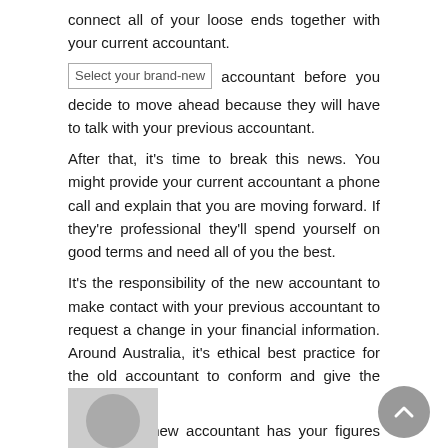connect all of your loose ends together with your current accountant.
Select your brand-new accountant before you decide to move ahead because they will have to talk with your previous accountant.
After that, it's time to break this news. You might provide your current accountant a phone call and explain that you are moving forward. If they're professional they'll spend yourself on good terms and need all of you the best.
It's the responsibility of the new accountant to make contact with your previous accountant to request a change in your financial information. Around Australia, it's ethical best practice for the old accountant to conform and give the information.
When your new accountant has your figures and fiscal reports, make a scheduled appointment for that the two of you to examine your company. This is the time to describe your trouble points. Discuss your personal and business goals so that your accountant includes a obvious picture of what you're pursuing.
About The Author / Daley Ellis